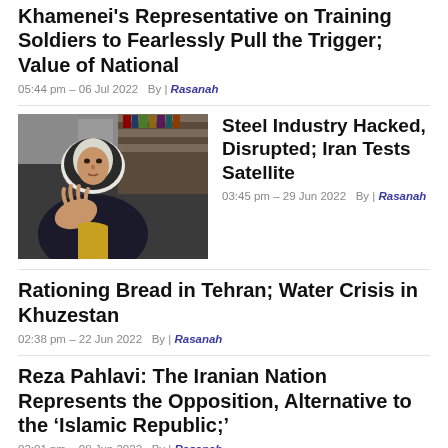Khamenei's Representative on Training Soldiers to Fearlessly Pull the Trigger; Value of National
05:44 pm - 06 Jul 2022   By | Rasanah
[Figure (photo): A woman wearing a hijab gesturing with her hand, seated indoors with bookshelves behind her.]
Steel Industry Hacked, Disrupted; Iran Tests Satellite
03:45 pm - 29 Jun 2022   By | Rasanah
Rationing Bread in Tehran; Water Crisis in Khuzestan
02:38 pm - 22 Jun 2022   By | Rasanah
Reza Pahlavi: The Iranian Nation Represents the Opposition, Alternative to the ‘Islamic Republic;’
02:01 pm - 08 Jun 2022   By | Rasanah